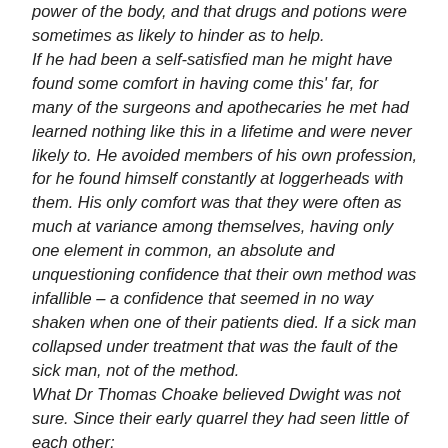power of the body, and that drugs and potions were sometimes as likely to hinder as to help. If he had been a self-satisfied man he might have found some comfort in having come this' far, for many of the surgeons and apothecaries he met had learned nothing like this in a lifetime and were never likely to. He avoided members of his own profession, for he found himself constantly at loggerheads with them. His only comfort was that they were often as much at variance among themselves, having only one element in common, an absolute and unquestioning confidence that their own method was infallible – a confidence that seemed in no way shaken when one of their patients died. If a sick man collapsed under treatment that was the fault of the sick man, not of the method. What Dr Thomas Choake believed Dwight was not sure. Since their early quarrel they had seen little of each other;